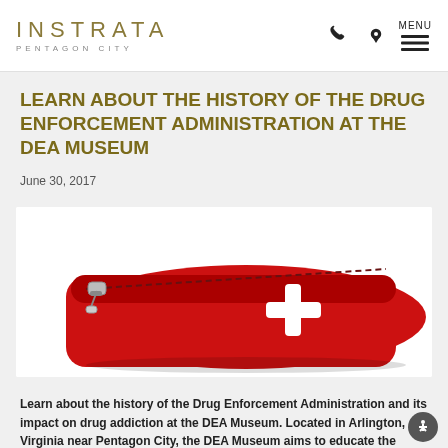INSTRATA PENTAGON CITY
LEARN ABOUT THE HISTORY OF THE DRUG ENFORCEMENT ADMINISTRATION AT THE DEA MUSEUM
June 30, 2017
[Figure (photo): A red fabric first aid pouch/bag with a white cross symbol and a zipper, photographed against a white background.]
Learn about the history of the Drug Enforcement Administration and its impact on drug addiction at the DEA Museum. Located in Arlington, Virginia near Pentagon City, the DEA Museum aims to educate the public on the history of drug enforcement and its evolution through the years. Exhibits on display include Illegal Drugs  Read More